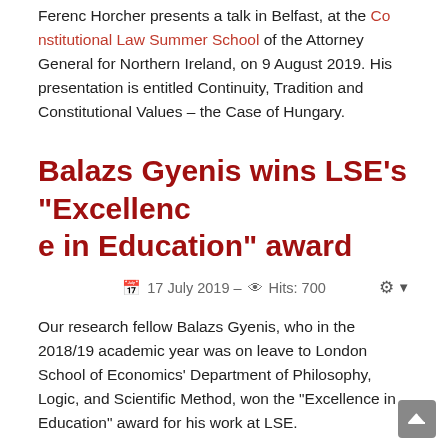Ferenc Horcher presents a talk in Belfast, at the Constitutional Law Summer School of the Attorney General for Northern Ireland, on 9 August 2019. His presentation is entitled Continuity, Tradition and Constitutional Values – the Case of Hungary.
Balazs Gyenis wins LSE's "Excellence in Education" award
17 July 2019 – Hits: 700
Our research fellow Balazs Gyenis, who in the 2018/19 academic year was on leave to London School of Economics' Department of Philosophy, Logic, and Scientific Method, won the "Excellence in Education" award for his work at LSE.